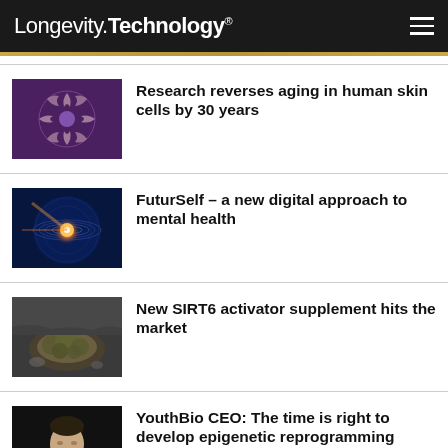Longevity.Technology®
[Figure (photo): Hands arranged in a circle on purple background]
Research reverses aging in human skin cells by 30 years
[Figure (photo): Digital brain/glowing sphere on dark blue background]
FuturSelf – a new digital approach to mental health
[Figure (photo): Moss or organic material on rocky surface]
New SIRT6 activator supplement hits the market
[Figure (photo): Portrait of a man in suit on dark background (CEO)]
YouthBio CEO: The time is right to develop epigenetic reprogramming therapies